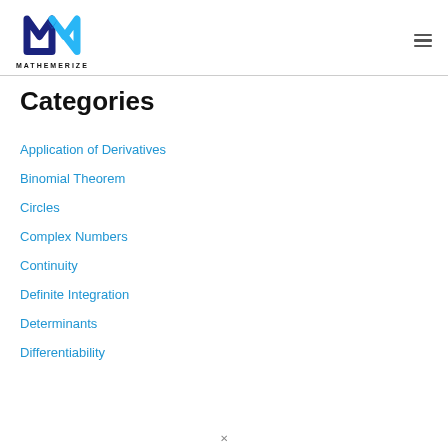MATHEMERIZE
Categories
Application of Derivatives
Binomial Theorem
Circles
Complex Numbers
Continuity
Definite Integration
Determinants
Differentiability